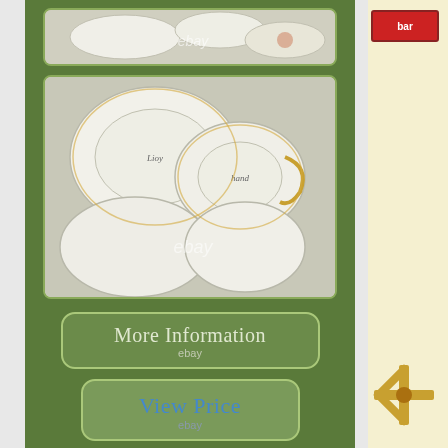[Figure (photo): Top photo showing bottom of porcelain cups/dishes with ebay watermark]
[Figure (photo): Bottom photo showing bottoms of Limoges hand painted porcelain pieces with ebay watermark]
[Figure (screenshot): More Information button with ebay label]
[Figure (screenshot): View Price button with ebay label]
Be used for almost all destinations around the wo. United Arab Emirates (UAE), London-UK. LIMITED NUMBER of countries within the European Union. Package value/size/weight meet the requirements for this service. Please excuse any glare in the pictures. LIMOGES HAND PAINTED